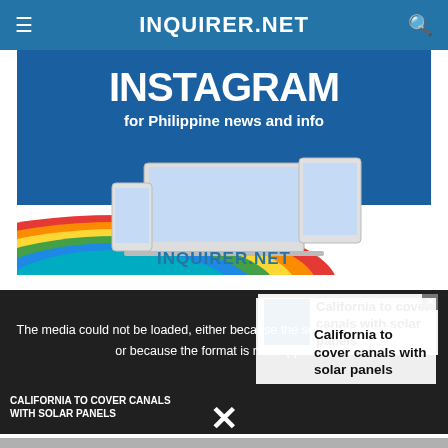INQUIRER.NET
[Figure (illustration): Instagram promotion banner for INQUIRER.NET showing text 'INSTAGRAM for Philippine news and info' with device mockups (phone, laptop, tablet) showing Instagram interface, rainbow stripe decoration at the bottom, and INQUIRER.NET label at bottom center]
[Figure (screenshot): Video player area showing 'CALIFORNIA TO COVER CANALS WITH SOLAR PANELS' with a media error overlay message and sidebar article preview about California covering canals with solar panels]
The media could not be loaded, either because the server or network failed or because the format is not supported.
California to cover canals with solar panels